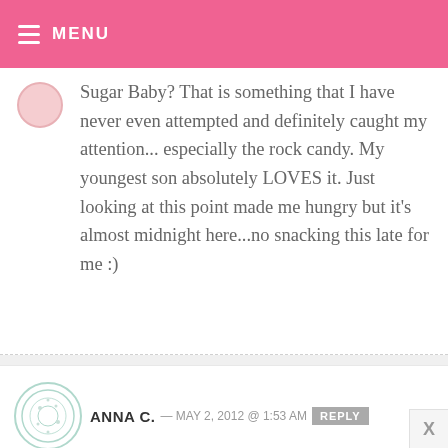MENU
Sugar Baby? That is something that I have never even attempted and definitely caught my attention... especially the rock candy. My youngest son absolutely LOVES it. Just looking at this point made me hungry but it's almost midnight here...no snacking this late for me :)
ANNA C. — MAY 2, 2012 @ 1:53 AM  REPLY
Handhold Pies looks soooo good. Is